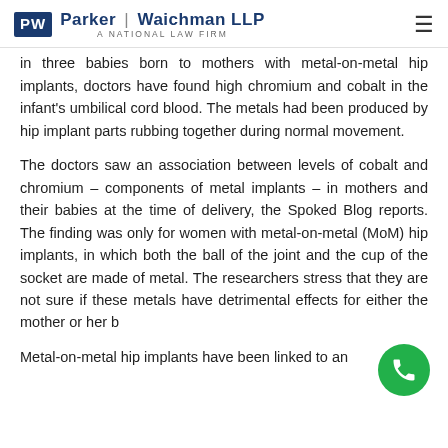Parker | Waichman LLP — A National Law Firm
in three babies born to mothers with metal-on-metal hip implants, doctors have found high chromium and cobalt in the infant's umbilical cord blood. The metals had been produced by hip implant parts rubbing together during normal movement.
The doctors saw an association between levels of cobalt and chromium – components of metal implants – in mothers and their babies at the time of delivery, the Spoked Blog reports. The finding was only for women with metal-on-metal (MoM) hip implants, in which both the ball of the joint and the cup of the socket are made of metal. The researchers stress that they are not sure if these metals have detrimental effects for either the mother or her b…
Metal-on-metal hip implants have been linked to an